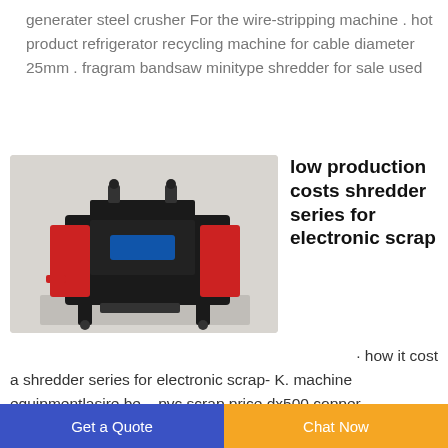generater steel crusher For the wire-stripping machine . hot product refrigerator recycling machine for cable diameter 25mm . fragram bandsaw minitype shredder for sale used
[Figure (photo): Red and black wire stripping / shredder machine on a stand, photographed against a light grey background.]
low production costs shredder series for electronic scrap
· how it cost a shredder series for electronic scrap- K. machine equipmentlasire.be. · pvc scrap price dx500 copper
Get a Quote   Chat Now